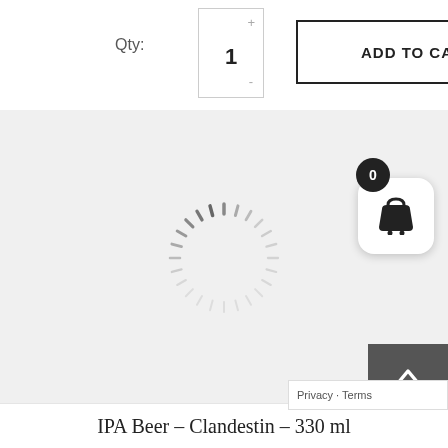Qty:
1
ADD TO CART
[Figure (screenshot): Loading spinner (circular dashed ring) in a light gray content area]
[Figure (screenshot): Back to top button (dark square with upward chevron arrow) and Privacy/Terms bar overlay]
IPA Beer – Clandestin – 330 ml